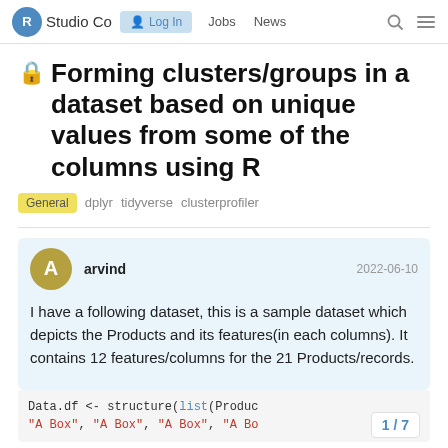R Studio Community — Log In  Jobs  News
🔒 Forming clusters/groups in a dataset based on unique values from some of the columns using R
General  dplyr  tidyverse  clusterprofiler
arvind  2022-06-10
I have a following dataset, this is a sample dataset which depicts the Products and its features(in each columns). It contains 12 features/columns for the 21 Products/records.
Data.df <- structure(list(Produc
"A Box", "A Box", "A Box", "A Bo
1 / 7